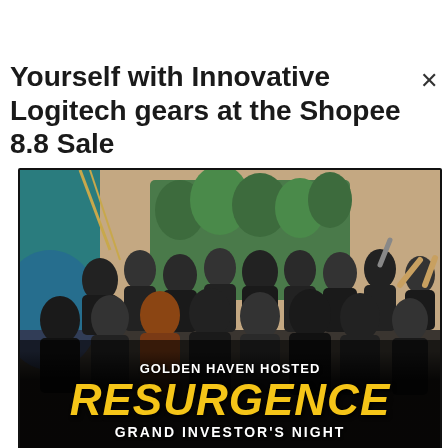Yourself with Innovative Logitech gears at the Shopee 8.8 Sale
[Figure (photo): Group photo of many people posing at the Golden Haven RESURGENCE Grand Investor's Night event. People are wearing masks and dressed in business/semi-formal attire. The background shows a decorated stage with greenery and a teal accent. At the bottom of the image, text overlays read 'GOLDEN HAVEN HOSTED RESURGENCE GRAND INVESTOR'S NIGHT' in white and bold yellow letters.]